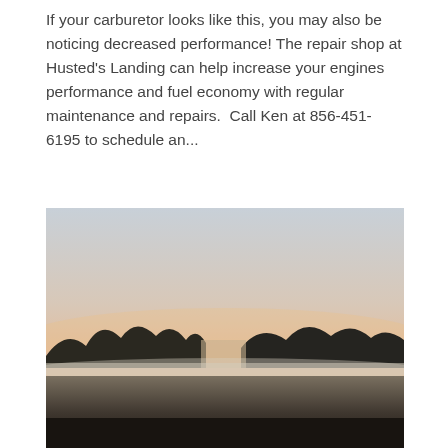If your carburetor looks like this, you may also be noticing decreased performance! The repair shop at Husted's Landing can help increase your engines performance and fuel economy with regular maintenance and repairs.  Call Ken at 856-451-6195 to schedule an...
[Figure (photo): A misty rural landscape at dawn or dusk. A flat field in the foreground with low-lying fog, and a treeline silhouetted against a soft pinkish-orange and pale blue sky on the horizon.]